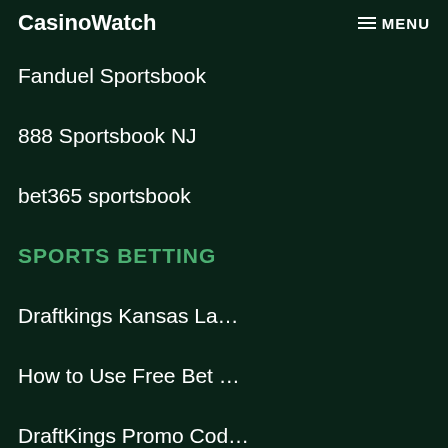CasinoWatch  MENU
Fanduel Sportsbook
888 Sportsbook NJ
bet365 sportsbook
SPORTS BETTING
Draftkings Kansas La…
How to Use Free Bet …
DraftKings Promo Cod…